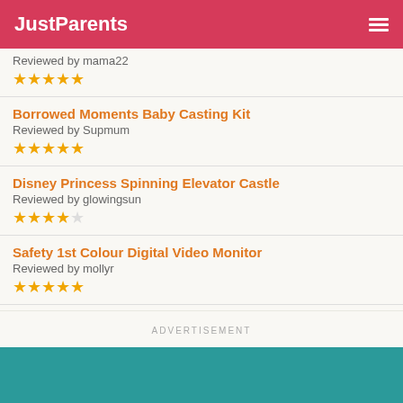JustParents
Reviewed by mama22
★★★★★
Borrowed Moments Baby Casting Kit
Reviewed by Supmum
★★★★★
Disney Princess Spinning Elevator Castle
Reviewed by glowingsun
★★★★☆
Safety 1st Colour Digital Video Monitor
Reviewed by mollyr
★★★★★
ADVERTISEMENT